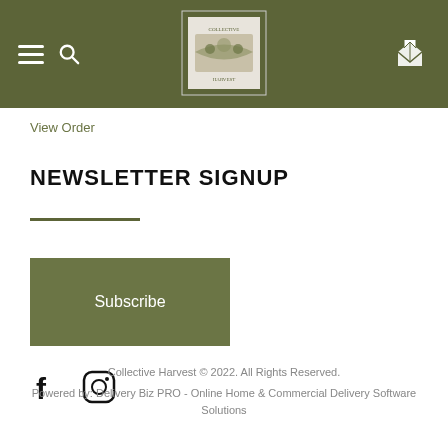Collective Harvest - navigation header with hamburger, search, logo, and cart
View Order
NEWSLETTER SIGNUP
Subscribe
[Figure (logo): Facebook and Instagram social icons]
Collective Harvest © 2022. All Rights Reserved.
Powered by: Delivery Biz PRO - Online Home & Commercial Delivery Software Solutions